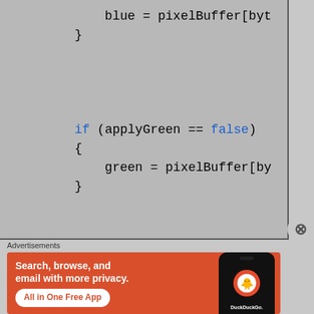[Figure (screenshot): Code snippet showing pixel buffer manipulation with conditional checks for applyGreen and applyRed using monospace font on gray background]
Advertisements
[Figure (illustration): DuckDuckGo advertisement banner: Search, browse, and email with more privacy. All in One Free App. Shows DuckDuckGo logo on a phone on orange background.]